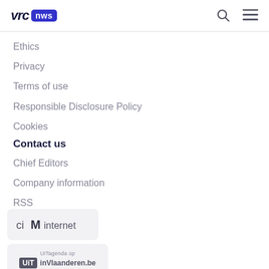VRT nws
Ethics
Privacy
Terms of use
Responsible Disclosure Policy
Cookies
Contact us
Chief Editors
Company information
RSS
[Figure (logo): CIM internet logo badge]
[Figure (logo): UiT inVlaanderen.be badge with tagline UiTagenda op]